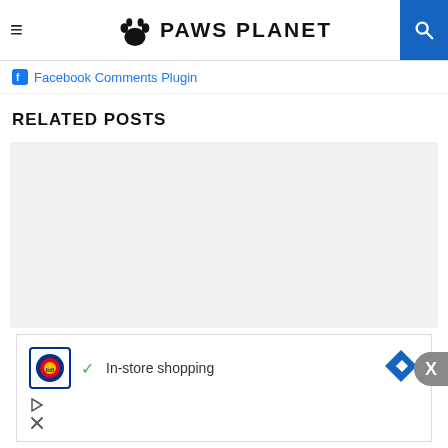PAWS PLANET
Facebook Comments Plugin
RELATED POSTS
[Figure (other): Gray placeholder box for related posts content]
[Figure (other): Advertisement: Lidl in-store shopping ad with logo, checkmark, text and navigation arrow]